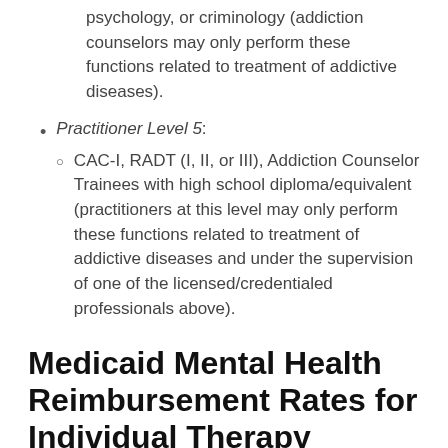psychology, or criminology (addiction counselors may only perform these functions related to treatment of addictive diseases).
Practitioner Level 5:
CAC-I, RADT (I, II, or III), Addiction Counselor Trainees with high school diploma/equivalent (practitioners at this level may only perform these functions related to treatment of addictive diseases and under the supervision of one of the licensed/credentialed professionals above).
Medicaid Mental Health Reimbursement Rates for Individual Therapy